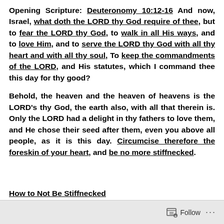Opening Scripture: Deuteronomy 10:12-16 And now, Israel, what doth the LORD thy God require of thee, but to fear the LORD thy God, to walk in all His ways, and to love Him, and to serve the LORD thy God with all thy heart and with all thy soul, To keep the commandments of the LORD, and His statutes, which I command thee this day for thy good?
Behold, the heaven and the heaven of heavens is the LORD's thy God, the earth also, with all that therein is. Only the LORD had a delight in thy fathers to love them, and He chose their seed after them, even you above all people, as it is this day. Circumcise therefore the foreskin of your heart, and be no more stiffnecked.
Follow